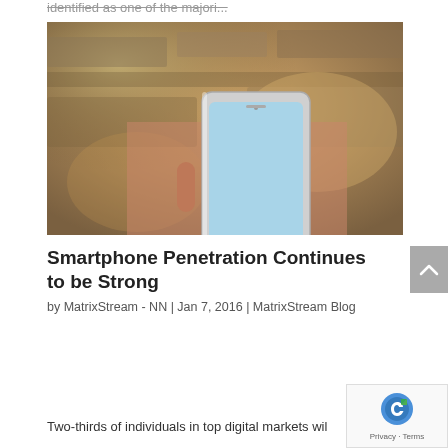identified as one of the majori...
[Figure (photo): Person holding a white smartphone with both hands, bokeh background with warm tones and blurred interior setting]
Smartphone Penetration Continues to be Strong
by MatrixStream - NN | Jan 7, 2016 | MatrixStream Blog
Two-thirds of individuals in top digital markets wil